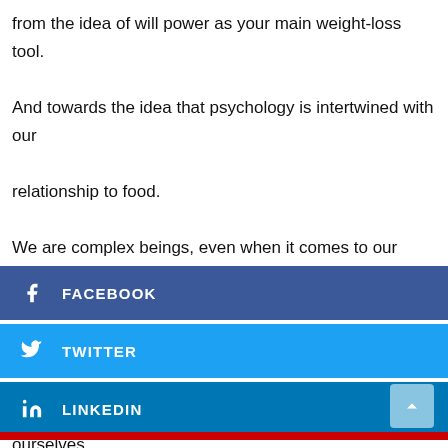from the idea of will power as your main weight-loss tool. And towards the idea that psychology is intertwined with our relationship to food.
We are complex beings, even when it comes to our long-lasting health. Weight loss isn't one size fits all. We need to explore our inner being and establish new rules for ourselves.
[Figure (infographic): Social share buttons for Facebook, Twitter, and LinkedIn with a scroll-to-top button and a red bar at the bottom.]